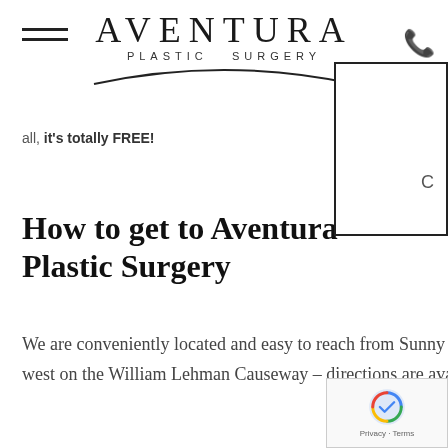AVENTURA PLASTIC SURGERY
all, it's totally FREE!
How to get to Aventura Plastic Surgery
We are conveniently located and easy to reach from Sunny Isles Beach – just head north on Collins Avenue and then west on the William Lehman Causeway – directions are available by clicking on the map below. You can also fill
[Figure (logo): reCAPTCHA badge with spinning logo and Privacy · Terms text]